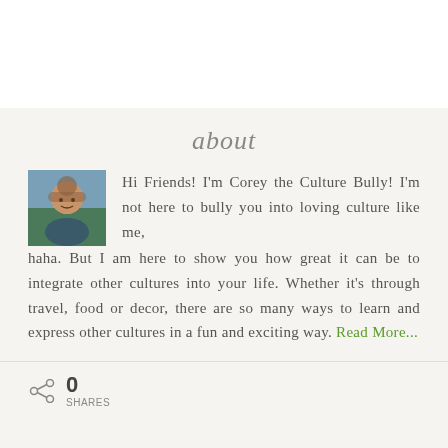about
[Figure (photo): Small portrait photo of a young man outdoors, smiling, with blurred background]
Hi Friends! I'm Corey the Culture Bully! I'm not here to bully you into loving culture like me, haha. But I am here to show you how great it can be to integrate other cultures into your life. Whether it's through travel, food or decor, there are so many ways to learn and express other cultures in a fun and exciting way. Read More...
0 SHARES